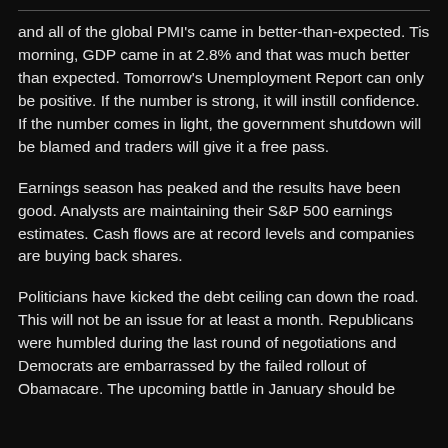and all of the global PMI's came in better-than-expected. Tis morning, GDP came in at 2.8% and that was much better than expected. Tomorrow's Unemployment Report can only be positive. If the number is strong, it will instill confidence. If the number comes in light, the government shutdown will be blamed and traders will give it a free pass.
Earnings season has peaked and the results have been good. Analysts are maintaining their S&P 500 earnings estimates. Cash flows are at record levels and companies are buying back shares.
Politicians have kicked the debt ceiling can down the road. This will not be an issue for at least a month. Republicans were humbled during the last round of negotiations and Democrats are embarrassed by the failed rollout of Obamacare. The upcoming battle in January should be